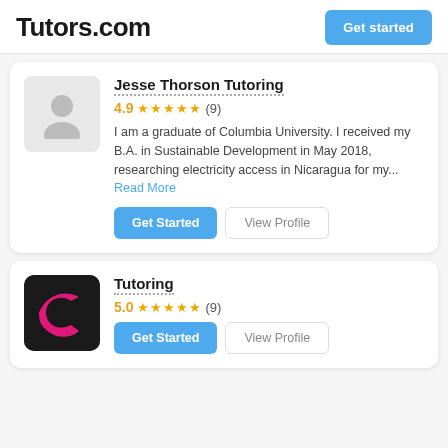Tutors.com
Jesse Thorson Tutoring
4.9 ★★★★★ (9)
I am a graduate of Columbia University. I received my B.A. in Sustainable Development in May 2018, researching electricity access in Nicaragua for my... Read More
Get Started | View Profile
Tutoring
5.0 ★★★★★ (9)
Get Started | View Profile